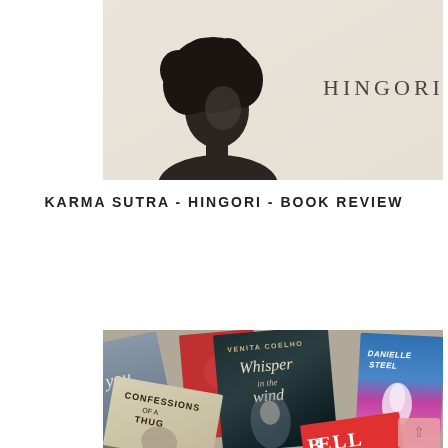[Figure (photo): Photo of a book cover for 'Karma Sutra' by Hingori, showing a silhouette of a person with curly hair against a light background, with the author name HINGORI printed on the right side.]
KARMA SUTRA - HINGORI - BOOK REVIEW
[Figure (photo): Photo of multiple books arranged in a collage/pile, including 'Whisper in the Wind' by Venita Coelho (center, dark cover with an angel figure), 'Confessions of a Thug' (light colored cover, lower left), a partial book with 'you' text (left), a Danielle Steel book (right, blue and pink cover), and other partially visible books including one with 'BELL' lettering.]